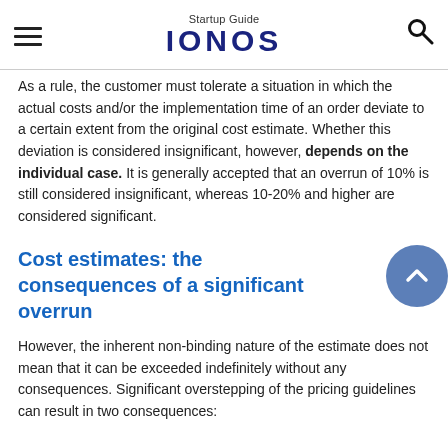Startup Guide IONOS
As a rule, the customer must tolerate a situation in which the actual costs and/or the implementation time of an order deviate to a certain extent from the original cost estimate. Whether this deviation is considered insignificant, however, depends on the individual case. It is generally accepted that an overrun of 10% is still considered insignificant, whereas 10-20% and higher are considered significant.
Cost estimates: the consequences of a significant overrun
However, the inherent non-binding nature of the estimate does not mean that it can be exceeded indefinitely without any consequences. Significant overstepping of the pricing guidelines can result in two consequences: